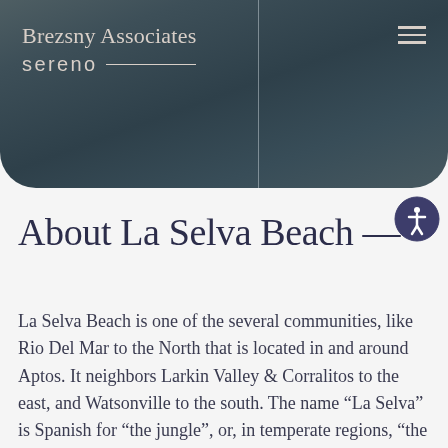[Figure (screenshot): Hero banner image with dark teal/slate gradient background split by a vertical line. Left side shows the Brezsny Associates / sereno logo with a horizontal line element. Right side is darker. Hamburger menu icon in top right.]
About La Selva Beach —
La Selva Beach is one of the several communities, like Rio Del Mar to the North that is located in and around Aptos. It neighbors Larkin Valley & Corralitos to the east, and Watsonville to the south. The name “La Selva” is Spanish for “the jungle”, or, in temperate regions, “the forest”. When founded, the small beach community was surrounded